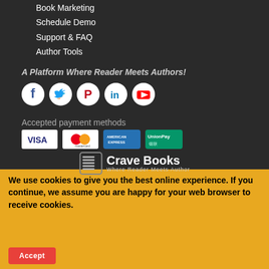Book Marketing
Schedule Demo
Support & FAQ
Author Tools
A Platform Where Reader Meets Authors!
[Figure (illustration): Social media icons: Facebook, Twitter, Pinterest, LinkedIn, YouTube]
Accepted payment methods
[Figure (illustration): Payment method logos: Visa, Mastercard, American Express, UnionPay]
[Figure (logo): Crave Books logo with book icon and tagline: Where Reader Meets Author]
We use cookies to give you the best online experience. If you continue, we assume you are happy for your web browser to receive cookies.
Accept